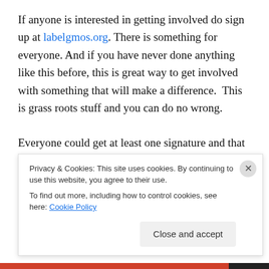If anyone is interested in getting involved do sign up at labelgmos.org. There is something for everyone. And if you have never done anything like this before, this is great way to get involved with something that will make a difference.  This is grass roots stuff and you can do no wrong.

Everyone could get at least one signature and that one could make all the difference.  I encourage you to sign up.  It really has a very stimulating effect.  And just for fun ask
Privacy & Cookies: This site uses cookies. By continuing to use this website, you agree to their use.
To find out more, including how to control cookies, see here: Cookie Policy